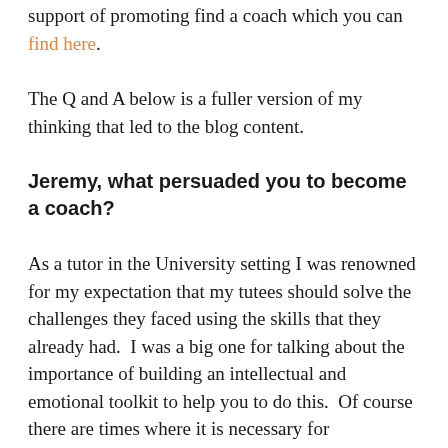support of promoting find a coach which you can find here.
The Q and A below is a fuller version of my thinking that led to the blog content.
Jeremy, what persuaded you to become a coach?
As a tutor in the University setting I was renowned for my expectation that my tutees should solve the challenges they faced using the skills that they already had.  I was a big one for talking about the importance of building an intellectual and emotional toolkit to help you to do this.  Of course there are times where it is necessary for